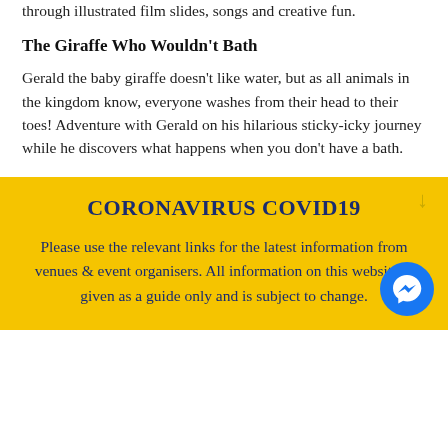through illustrated film slides, songs and creative fun.
The Giraffe Who Wouldn't Bath
Gerald the baby giraffe doesn't like water, but as all animals in the kingdom know, everyone washes from their head to their toes! Adventure with Gerald on his hilarious sticky-icky journey while he discovers what happens when you don't have a bath.
CORONAVIRUS COVID19
Please use the relevant links for the latest information from venues & event organisers. All information on this website is given as a guide only and is subject to change.